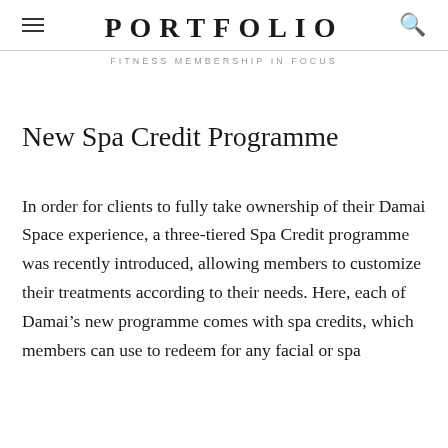PORTFOLIO
FITNESS MEMBERSHIP IN FOCUS
New Spa Credit Programme
In order for clients to fully take ownership of their Damai Space experience, a three-tiered Spa Credit programme was recently introduced, allowing members to customize their treatments according to their needs. Here, each of Damai's new programme comes with spa credits, which members can use to redeem for any facial or spa